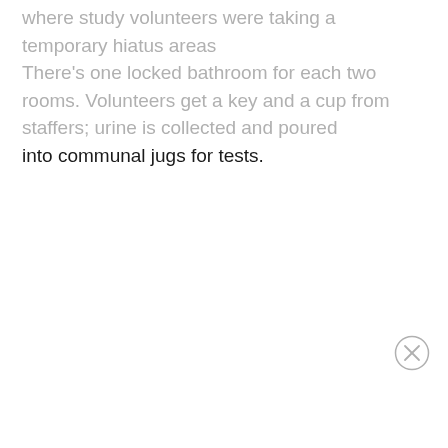where study volunteers were taking a temporary hiatus areas There's one locked bathroom for each two rooms. Volunteers get a key and a cup from staffers; urine is collected and poured into communal jugs for tests.
[Figure (other): Close/dismiss button (circle with X) in bottom right corner]